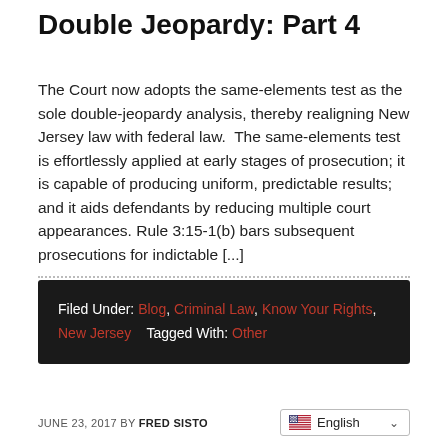Double Jeopardy: Part 4
The Court now adopts the same-elements test as the sole double-jeopardy analysis, thereby realigning New Jersey law with federal law.  The same-elements test is effortlessly applied at early stages of prosecution; it is capable of producing uniform, predictable results; and it aids defendants by reducing multiple court appearances. Rule 3:15-1(b) bars subsequent prosecutions for indictable [...]
Filed Under: Blog, Criminal Law, Know Your Rights, New Jersey   Tagged With: Other
JUNE 23, 2017 BY FRED SISTO   English